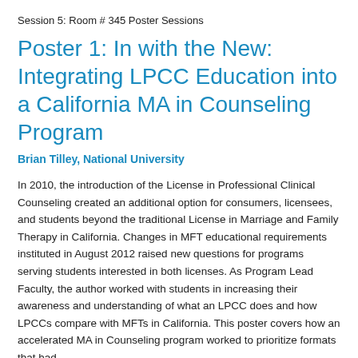Session 5: Room # 345 Poster Sessions
Poster 1: In with the New: Integrating LPCC Education into a California MA in Counseling Program
Brian Tilley, National University
In 2010, the introduction of the License in Professional Clinical Counseling created an additional option for consumers, licensees, and students beyond the traditional License in Marriage and Family Therapy in California. Changes in MFT educational requirements instituted in August 2012 raised new questions for programs serving students interested in both licenses. As Program Lead Faculty, the author worked with students in increasing their awareness and understanding of what an LPCC does and how LPCCs compare with MFTs in California. This poster covers how an accelerated MA in Counseling program worked to prioritize formats that had...